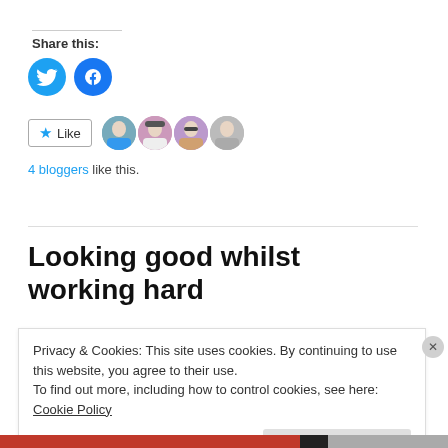Share this:
[Figure (illustration): Twitter and Facebook share icon buttons (blue circles with bird and f logos)]
[Figure (illustration): Like button with star icon and 4 blogger avatar photos]
4 bloggers like this.
Looking good whilst working hard
Privacy & Cookies: This site uses cookies. By continuing to use this website, you agree to their use.
To find out more, including how to control cookies, see here: Cookie Policy
Close and accept